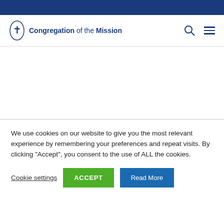[Figure (logo): Congregation of the Mission logo with oval icon and text]
We use cookies on our website to give you the most relevant experience by remembering your preferences and repeat visits. By clicking “Accept”, you consent to the use of ALL the cookies.
Cookie settings | ACCEPT | Read More